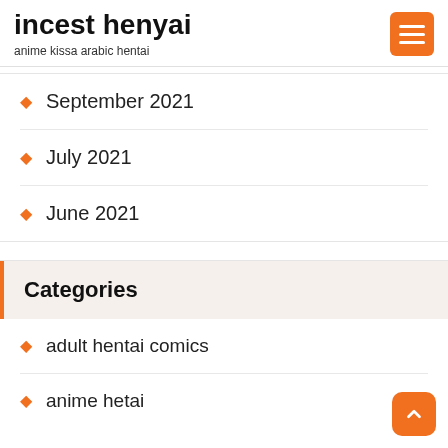incest henyai
anime kissa arabic hentai
September 2021
July 2021
June 2021
Categories
adult hentai comics
anime hetai